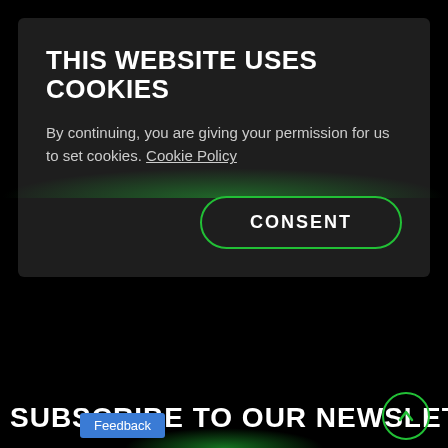THIS WEBSITE USES COOKIES
By continuing, you are giving your permission for us to set cookies. Cookie Policy
CONSENT
SUBSCRIBE TO OUR NEWSLETTER K
Feedback